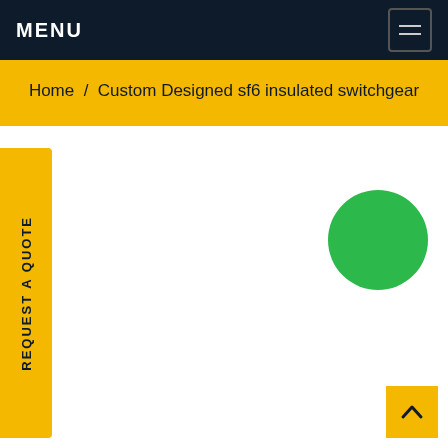MENU
Home / Custom Designed sf6 insulated switchgear
REQUEST A QUOTE
[Figure (illustration): Green filled circle on white background]
Back to top arrow button